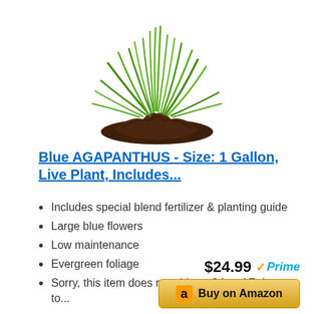[Figure (photo): A green grass-like plant (agapanthus) with long arching green leaves growing from a mound of dark brown soil, white background]
Blue AGAPANTHUS - Size: 1 Gallon, Live Plant, Includes...
Includes special blend fertilizer & planting guide
Large blue flowers
Low maintenance
Evergreen foliage
Sorry, this item does not ship to CA or AZ due to...
$24.99 Prime
Buy on Amazon